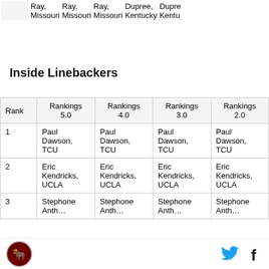|  | Ray, Missouri | Ray, Missouri | Ray, Missouri | Dupree, Kentucky | Dupre, Kentu... |
| --- | --- | --- | --- | --- | --- |
|  |
Inside Linebackers
| Rank | Rankings 5.0 | Rankings 4.0 | Rankings 3.0 | Rankings 2.0 |
| --- | --- | --- | --- | --- |
| 1 | Paul Dawson, TCU | Paul Dawson, TCU | Paul Dawson, TCU | Paul Dawson, TCU |
| 2 | Eric Kendricks, UCLA | Eric Kendricks, UCLA | Eric Kendricks, UCLA | Eric Kendricks, UCLA |
| 3 | Stephone Antho... | Stephone Antho... | Stephone Antho... | Stephone Antho... |
Logo | Twitter | Facebook